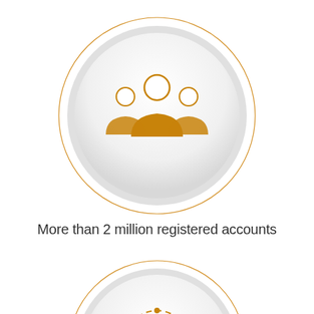[Figure (infographic): Circular icon with orange group/people icon inside a large white circle with orange ring border, representing registered accounts]
More than 2 million registered accounts
[Figure (infographic): Partially visible circular icon with orange 24/7 support icon inside a white circle with orange ring border, cut off at bottom]